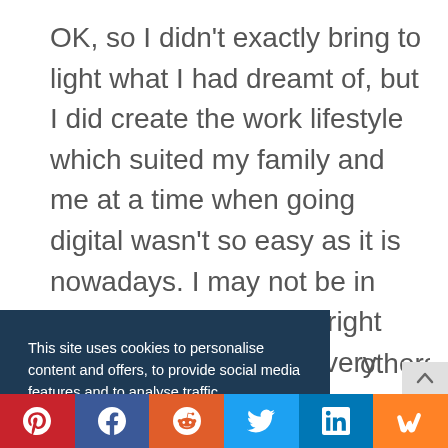OK, so I didn't exactly bring to light what I had dreamt of, but I did create the work lifestyle which suited my family and me at a time when going digital wasn't so easy as it is nowadays. I may not be in Thailand or Indonesia right now, but I work from every place I need or want to
[Figure (screenshot): Cookie consent banner overlay with dark navy background. Text reads: 'This site uses cookies to personalise content and offers, to provide social media features and to analyse traffic. Check our privacy policy' with a teal ACCEPT button. Partially obscures main article text.]
...others do. I ... Not my ...ay have other ...h yourself and
[Figure (infographic): Social sharing bar at the bottom with icons for Pinterest (red), Facebook (blue), Reddit (orange), Twitter (blue), LinkedIn (blue), and Mix (orange)]